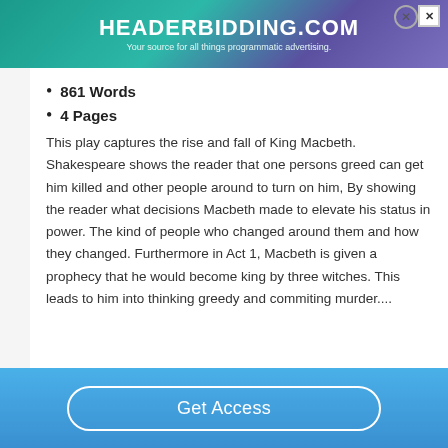[Figure (other): HeaderBidding.com advertisement banner with teal/purple gradient background. Text reads 'HEADERBIDDING.COM' and 'Your source for all things programmatic advertising.']
861 Words
4 Pages
This play captures the rise and fall of King Macbeth. Shakespeare shows the reader that one persons greed can get him killed and other people around to turn on him, By showing the reader what decisions Macbeth made to elevate his status in power. The kind of people who changed around them and how they changed. Furthermore in Act 1, Macbeth is given a prophecy that he would become king by three witches. This leads to him into thinking greedy and commiting murder....
Get Access